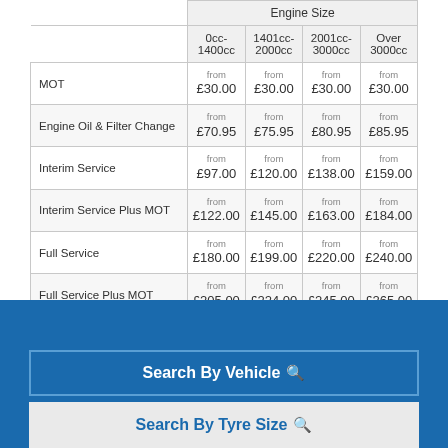|  | Engine Size |  |  |  |
| --- | --- | --- | --- | --- |
| MOT | from £30.00 | from £30.00 | from £30.00 | from £30.00 |
| Engine Oil & Filter Change | from £70.95 | from £75.95 | from £80.95 | from £85.95 |
| Interim Service | from £97.00 | from £120.00 | from £138.00 | from £159.00 |
| Interim Service Plus MOT | from £122.00 | from £145.00 | from £163.00 | from £184.00 |
| Full Service | from £180.00 | from £199.00 | from £220.00 | from £240.00 |
| Full Service Plus MOT | from £205.00 | from £224.00 | from £245.00 | from £265.00 |
Search By Vehicle
Search By Tyre Size